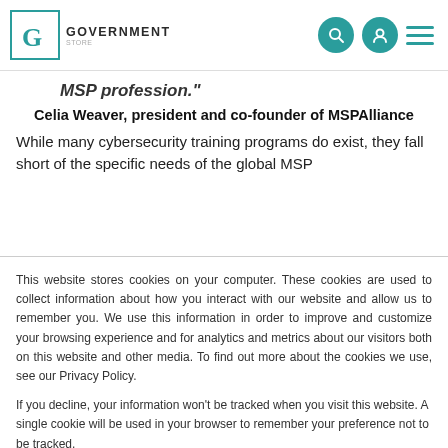The Government Store - logo, search, account, menu
MSP profession."
Celia Weaver, president and co-founder of MSPAlliance
While many cybersecurity training programs do exist, they fall short of the specific needs of the global MSP
This website stores cookies on your computer. These cookies are used to collect information about how you interact with our website and allow us to remember you. We use this information in order to improve and customize your browsing experience and for analytics and metrics about our visitors both on this website and other media. To find out more about the cookies we use, see our Privacy Policy.
If you decline, your information won’t be tracked when you visit this website. A single cookie will be used in your browser to remember your preference not to be tracked.